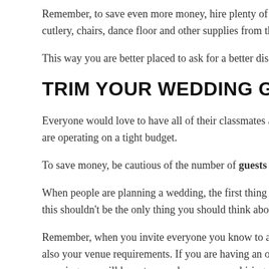Remember, to save even more money, hire plenty of cutlery, chairs, dance floor and other supplies from the
This way you are better placed to ask for a better disc
TRIM YOUR WEDDING GUEST LIST
Everyone would love to have all of their classmates at are operating on a tight budget.
To save money, be cautious of the number of guests
When people are planning a wedding, the first thing th this shouldn't be the only thing you should think about.
Remember, when you invite everyone you know to att also your venue requirements. If you are having an out meaning you will have to spend more money hiring a la
To reduce your expenses, don't invite anyone you hav people to bring their plus ones. In fact, insist on them